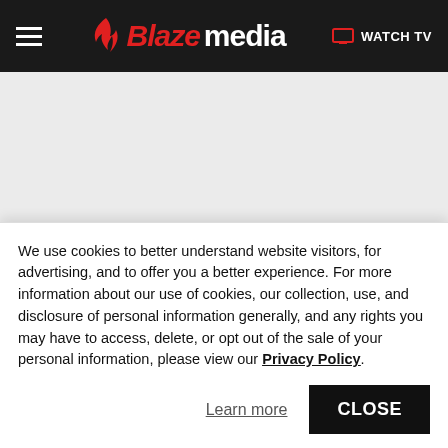Blaze Media — navigation bar with hamburger menu, logo, and WATCH TV link
[Figure (other): Advertisement / gray placeholder area below navigation bar]
Blaze Media / News
Trump-supporting black Republican Byron Donalds wins both contested Florida
We use cookies to better understand website visitors, for advertising, and to offer you a better experience. For more information about our use of cookies, our collection, use, and disclosure of personal information generally, and any rights you may have to access, delete, or opt out of the sale of your personal information, please view our Privacy Policy.
Learn more
CLOSE